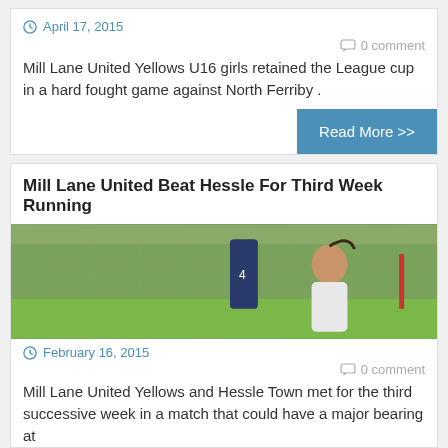April 17, 2015
0 comment
Mill Lane United Yellows U16 girls retained the League cup in a hard fought game against North Ferriby .
Read More >>
Mill Lane United Beat Hessle For Third Week Running
[Figure (photo): Photo of girls soccer players on a field with a green fence in the background. A girl with a ponytail is in the foreground.]
February 16, 2015
0 comment
Mill Lane United Yellows and Hessle Town met for the third successive week in a match that could have a major bearing at